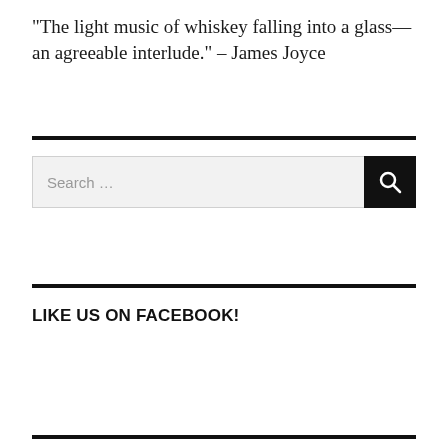“The light music of whiskey falling into a glass—an agreeable interlude.” – James Joyce
LIKE US ON FACEBOOK!